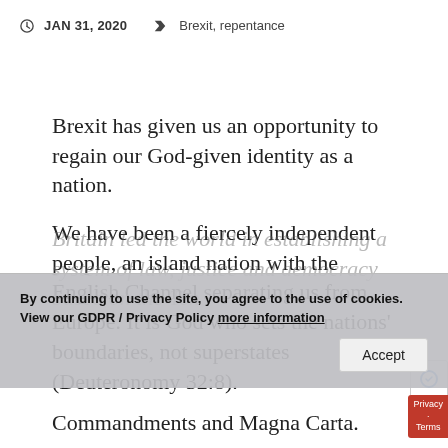JAN 31, 2020   Brexit, repentance
Brexit has given us an opportunity to regain our God-given identity as a nation.
We have been a fiercely independent people, an island nation with the English Channel separating us from Europe. It is God who sets the nations' boundaries, not superstates (Deuteronomy 32:8).
Britain led the world in establishing a system of law, justice and democracy based on the Ten Commandments and Magna Carta.